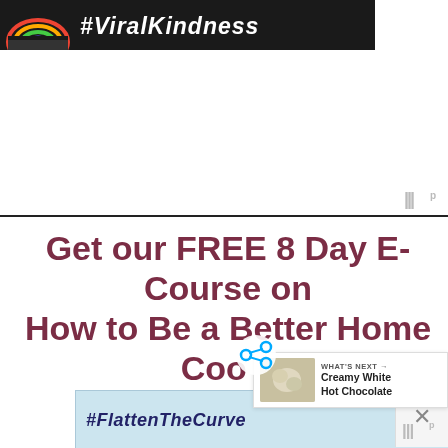[Figure (screenshot): #ViralKindness banner with rainbow chalk art on dark background]
[Figure (screenshot): Share icon overlay]
Get our FREE 8 Day E-Course on How to Be a Better Home Cook! Sign up HERE!
[Figure (screenshot): WHAT'S NEXT → Creamy White Hot Chocolate thumbnail overlay]
[Figure (screenshot): #FlattenTheCurve advertisement banner with handwashing image]